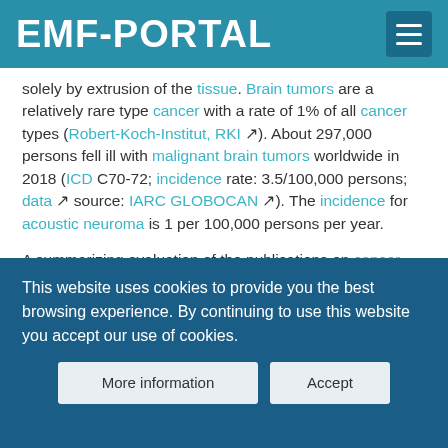EMF-PORTAL
solely by extrusion of the tissue. Brain tumors are a relatively rare type cancer with a rate of 1% of all cancer types (Robert-Koch-Institut, RKI ↗). About 297,000 persons fell ill with malignant brain tumors worldwide in 2018 (ICD C70-72; incidence rate: 3.5/100,000 persons; data ↗ source: IARC GLOBOCAN ↗). The incidence for acoustic neuroma is 1 per 100,000 persons per year.
A summarizing evaluation of the publications on cancer due to exposure to radiofrequency electromagnetic fields has been conducted by an expert group of the International Agency for Research on Cancer (IARC) of
This website uses cookies to provide you the best browsing experience. By continuing to use this website you accept our use of cookies.
More information   Accept